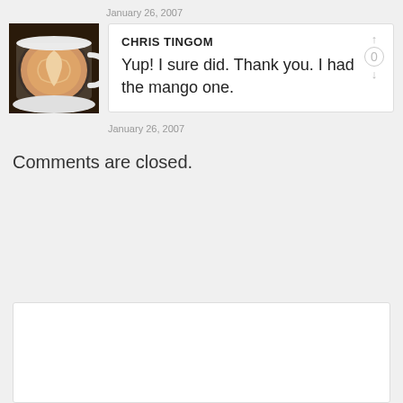January 26, 2007
[Figure (photo): Avatar photo of a latte coffee cup with latte art in a white cup and saucer on a dark surface]
CHRIS TINGOM
Yup! I sure did. Thank you. I had the mango one.
January 26, 2007
Comments are closed.